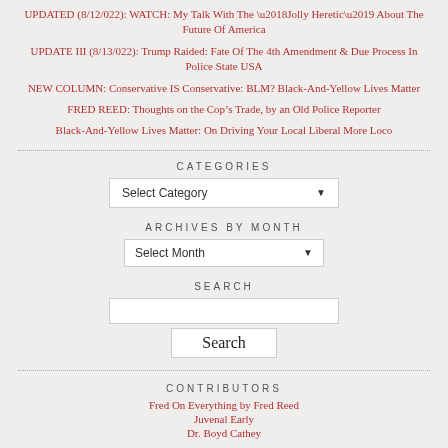UPDATED (8/12/022): WATCH: My Talk With The ‘Jolly Heretic’ About The Future Of America
UPDATE III (8/13/022): Trump Raided: Fate Of The 4th Amendment & Due Process In Police State USA
NEW COLUMN: Conservative IS Conservative: BLM? Black-And-Yellow Lives Matter
FRED REED: Thoughts on the Cop’s Trade, by an Old Police Reporter
Black-And-Yellow Lives Matter: On Driving Your Local Liberal More Loco
CATEGORIES
Select Category
ARCHIVES BY MONTH
Select Month
SEARCH
CONTRIBUTORS
Fred On Everything by Fred Reed
Juvenal Early
Dr. Boyd Cathey